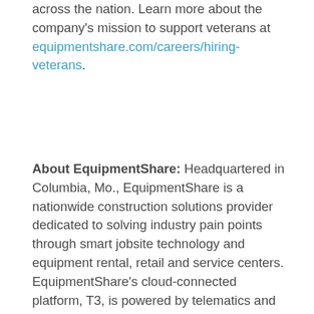across the nation. Learn more about the company's mission to support veterans at equipmentshare.com/careers/hiring-veterans.
About EquipmentShare: Headquartered in Columbia, Mo., EquipmentShare is a nationwide construction solutions provider dedicated to solving industry pain points through smart jobsite technology and equipment rental, retail and service centers. EquipmentShare's cloud-connected platform, T3, is powered by telematics and machine hardware to give construction and industrial companies a real-time view into their jobsite and operations. EquipmentShare's enterprise suite of apps is OEM-agnostic and can track